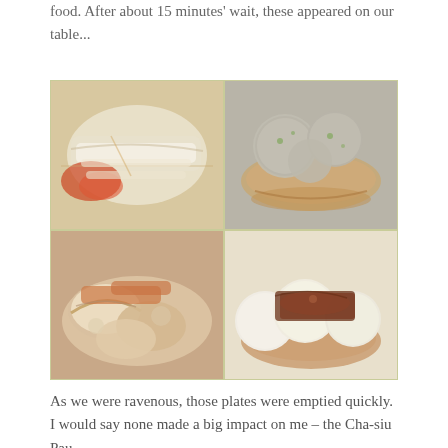food. After about 15 minutes' wait, these appeared on our table...
[Figure (photo): Four dim sum dishes arranged in a 2x2 grid: top-left shows rice noodle rolls with sauce, top-right shows steamed meatballs in a bamboo steamer, bottom-left shows pan-fried dumplings with sauce, bottom-right shows steamed bao buns with BBQ filling in a bamboo steamer.]
As we were ravenous, those plates were emptied quickly.  I would say none made a big impact on me – the Cha-siu Pau